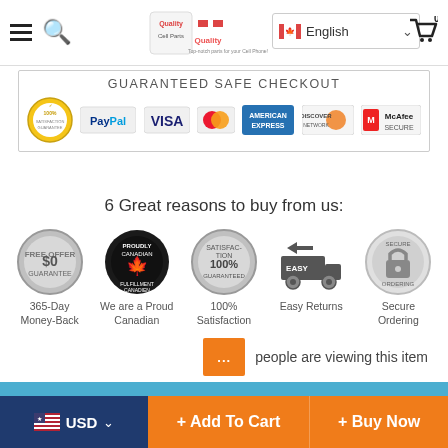Quality Cell — English — Cart (0)
[Figure (infographic): GUARANTEED SAFE CHECKOUT banner with payment icons: 100% Satisfaction Guarantee, PayPal, VISA, MasterCard, American Express, Discover, McAfee Secure]
6 Great reasons to buy from us:
[Figure (infographic): 5 trust badges: 365-Day Money Back ($0 free offer guarantee), Proudly Canadian Fulfillment, 100% Satisfaction Guaranteed, Easy Returns (truck icon), Secure Ordering (padlock)]
We use cookies to ensure that we give you the best experience on our website. For additional details, please read our Privacy Policy.
Privacy Policy   Accept
... people are viewing this item
USD
+ Add To Cart
+ Buy Now